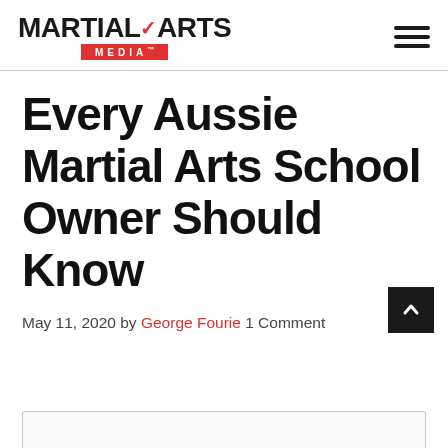MARTIAL ARTS MEDIA
Every Aussie Martial Arts School Owner Should Know
May 11, 2020 by George Fourie 1 Comment